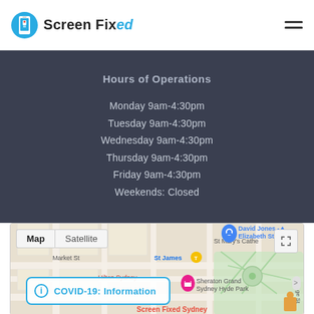[Figure (logo): Screen Fixed logo with blue circle containing a phone icon, company name with 'ed' in italic teal, and hamburger menu icon on the right]
Hours of Operations
Monday 9am-4:30pm
Tuesday 9am-4:30pm
Wednesday 9am-4:30pm
Thursday 9am-4:30pm
Friday 9am-4:30pm
Weekends: Closed
[Figure (map): Google Maps showing Sydney CBD area with Map/Satellite toggle tabs, David Jones Elizabeth Street, St Mary's Cathedral, St James station, Hilton Sydney, Sheraton Grand Sydney Hyde Park markers, and Screen Fixed Sydney pin at bottom]
COVID-19: Information